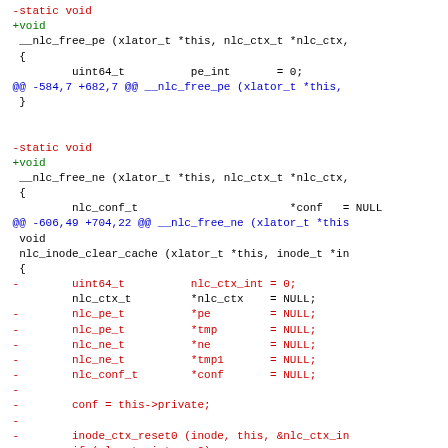Code diff showing changes to __nlc_free_pe and __nlc_free_ne functions, and nlc_inode_clear_cache function variable removals